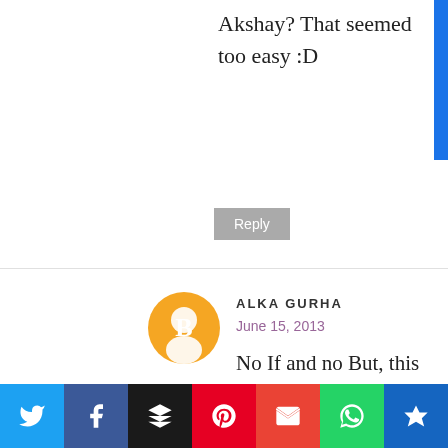Akshay? That seemed too easy :D
Reply
ALKA GURHA
June 15, 2013
No If and no But, this one takes the cake. Good luck doc.
Reply
▾ Replies
DR. ROSHAN